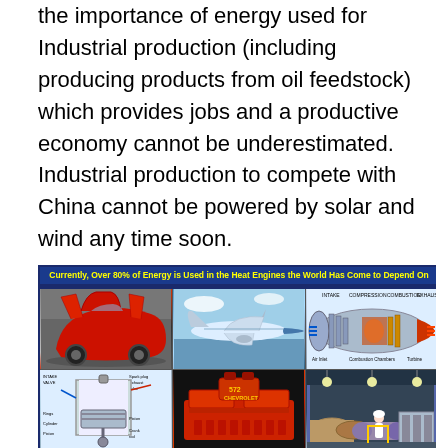the importance of energy used for Industrial production (including producing products from oil feedstock) which provides jobs and a productive economy cannot be underestimated. Industrial production to compete with China cannot be powered by solar and wind any time soon.
[Figure (infographic): Collage of heat engine images with title bar: 'Currently, Over 80% of Energy is Used in the Heat Engines the World Has Come to Depend On'. Shows: red sports car with scissor doors, Boeing 787 airplane, jet engine diagram with labels (INTAKE, COMPRESSION, COMBUSTION, EXHAUST), piston engine diagram, red Chevrolet V8 engine, industrial factory floor with worker.]